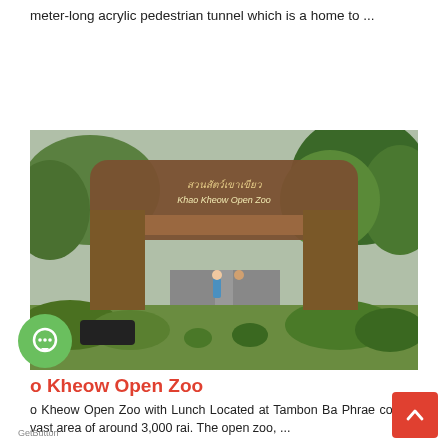meter-long acrylic pedestrian tunnel which is a home to ...
[Figure (photo): Entrance gate of Khao Kheow Open Zoo, showing a large tree-trunk shaped arch with Thai script and 'Khao Kheow Open Zoo' text, surrounded by tropical trees and plants, with a road leading inside]
o Kheow Open Zoo
o Kheow Open Zoo with Lunch Located at Tambon Ba Phrae covering a vast area of around 3,000 rai. The open zoo, ...